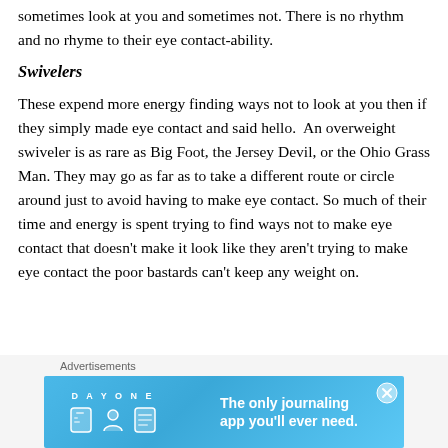sometimes look at you and sometimes not. There is no rhythm and no rhyme to their eye contact-ability.
Swivelers
These expend more energy finding ways not to look at you then if they simply made eye contact and said hello.  An overweight swiveler is as rare as Big Foot, the Jersey Devil, or the Ohio Grass Man. They may go as far as to take a different route or circle around just to avoid having to make eye contact. So much of their time and energy is spent trying to find ways not to make eye contact that doesn't make it look like they aren't trying to make eye contact the poor bastards can't keep any weight on.
[Figure (infographic): Advertisement banner for Day One journaling app with blue background, app icon, person icon, and text reading 'The only journaling app you’ll ever need.']